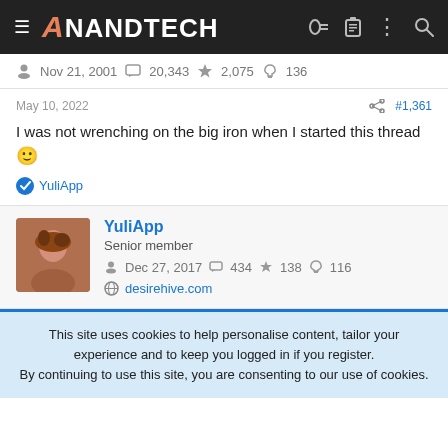AnandTech
Nov 21, 2001   20,343   2,075   136
May 10, 2022   #1,361
I was not wrenching on the big iron when I started this thread 🙂
YuliApp
YuliApp
Senior member
Dec 27, 2017   434   138   116
desirehive.com
This site uses cookies to help personalise content, tailor your experience and to keep you logged in if you register.
By continuing to use this site, you are consenting to our use of cookies.